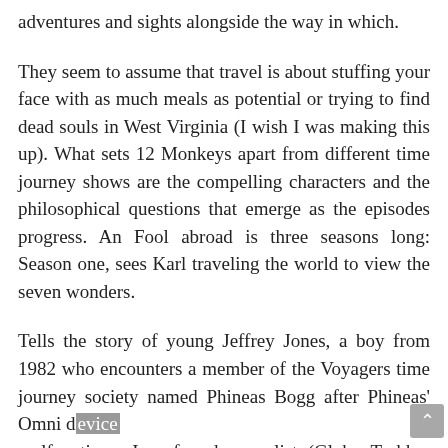adventures and sights alongside the way in which.
They seem to assume that travel is about stuffing your face with as much meals as potential or trying to find dead souls in West Virginia (I wish I was making this up). What sets 12 Monkeys apart from different time journey shows are the compelling characters and the philosophical questions that emerge as the episodes progress. An Fool abroad is three seasons long: Season one, sees Karl traveling the world to view the seven wonders.
Tells the story of young Jeffrey Jones, a boy from 1982 who encounters a member of the Voyagers time journey society named Phineas Bogg after Phineas' Omni device malfunctions. I preferred your list (Globe Trekker could